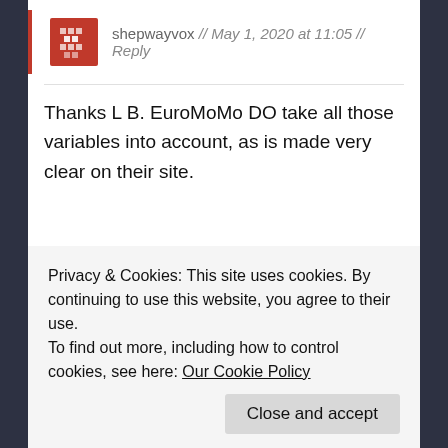shepwayvox // May 1, 2020 at 11:05 // Reply
Thanks L B. EuroMoMo DO take all those variables into account, as is made very clear on their site.
Loading...
TPJ // May 1, 2020 at 18:56 // Reply
Well reported. I think you can compare countries
Privacy & Cookies: This site uses cookies. By continuing to use this website, you agree to their use.
To find out more, including how to control cookies, see here: Our Cookie Policy
Close and accept